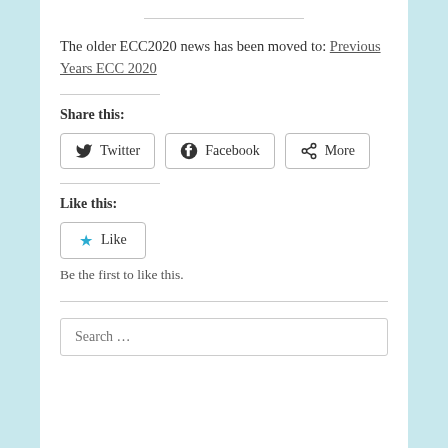The older ECC2020 news has been moved to: Previous Years ECC 2020
Share this:
[Figure (other): Share buttons for Twitter, Facebook, and More]
Like this:
[Figure (other): Like button with star icon]
Be the first to like this.
Search ...